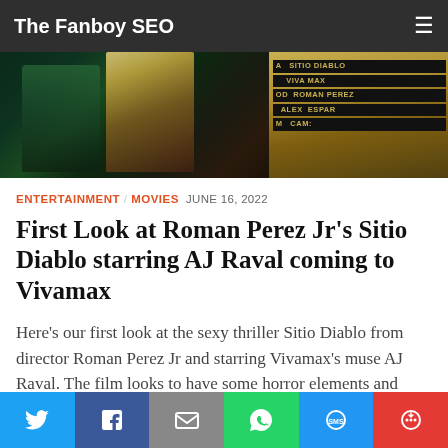The Fanboy SEO
[Figure (photo): Movie set photo split into two parts: left shows people in a dimly lit bar/club setting with teal and dark lighting, right shows a yellow/golden clapperboard with text: SITIO DIABLO, VIVA MAX, ROMAN PEREZ, ALEX ESPAR, CAM]
ENTERTAINMENT / MOVIES  JUNE 16, 2022
First Look at Roman Perez Jr’s Sitio Diablo starring AJ Raval coming to Vivamax
Here’s our first look at the sexy thriller Sitio Diablo from director Roman Perez Jr and starring Vivamax’s muse AJ Raval. The film looks to have some horror elements and